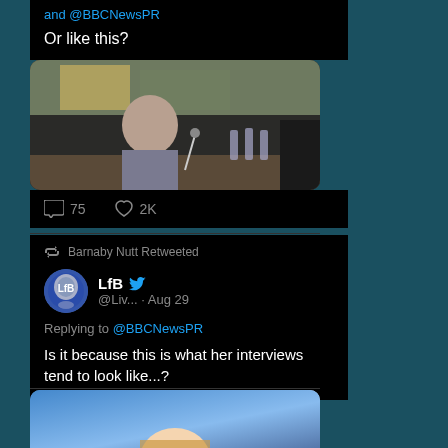and @BBCNewsPR
Or like this?
[Figure (screenshot): Video thumbnail showing a committee hearing room with a man in a suit, play button overlay]
75  2K
Barnaby Nutt Retweeted
LfB @Liv... · Aug 29
Replying to @BBCNewsPR
Is it because this is what her interviews tend to look like...?
[Figure (screenshot): Partial image of a woman with blonde hair against a blue background]